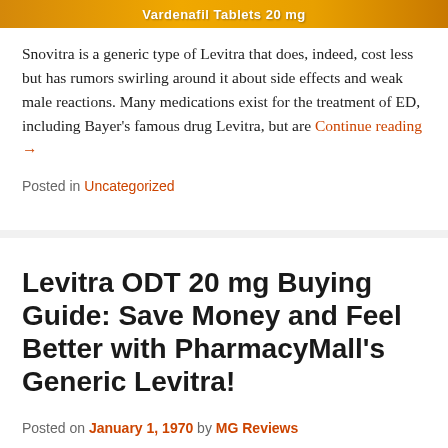[Figure (illustration): Golden/orange banner with text about Vardenafil Tablets 20mg]
Snovitra is a generic type of Levitra that does, indeed, cost less but has rumors swirling around it about side effects and weak male reactions. Many medications exist for the treatment of ED, including Bayer's famous drug Levitra, but are Continue reading →
Posted in Uncategorized
Levitra ODT 20 mg Buying Guide: Save Money and Feel Better with PharmacyMall's Generic Levitra!
Posted on January 1, 1970 by MG Reviews